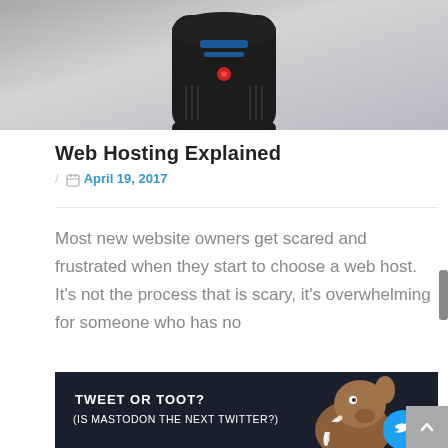[Figure (photo): Top portion of a dark metallic device (possibly a speaker or router) on a grey gradient background]
Web Hosting Explained
/ 📅 April 19, 2017
Most new website owners get scared and frustrated when they start to choose a web host. It's not the process that is scary, it's overwhelming for someone who has no
[Figure (illustration): Dark banner image with text 'TWEET OR TOOT? (IS MASTODON THE NEXT TWITTER?)' with a cartoon mastodon character and a Twitter bird icon in a blue circle]